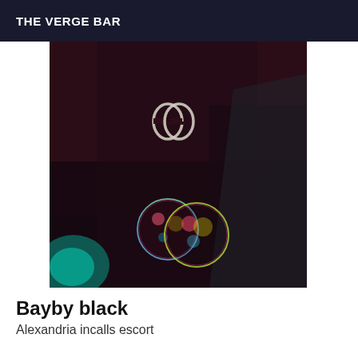THE VERGE BAR
[Figure (photo): Dark atmospheric photo showing a Gucci belt buckle logo on a dark jacket/fabric, with two iridescent soap bubbles in the foreground and a cyan/teal light in the lower left corner.]
Bayby black
Alexandria incalls escort